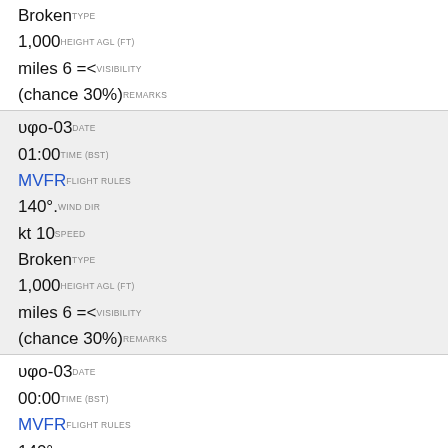Broken TYPE
1,000 HEIGHT AGL (FT)
miles 6 =< VISIBILITY
(chance 30%) REMARKS
υφο-03 DATE
01:00 TIME (BST)
MVFR FLIGHT RULES
140°. WIND DIR
kt 10 SPEED
Broken TYPE
1,000 HEIGHT AGL (FT)
miles 6 =< VISIBILITY
(chance 30%) REMARKS
υφο-03 DATE
00:00 TIME (BST)
MVFR FLIGHT RULES
140°. WIND DIR
kt 10 SPEED
Broken TYPE
1,000 HEIGHT AGL (FT)
miles 6 =< VISIBILITY